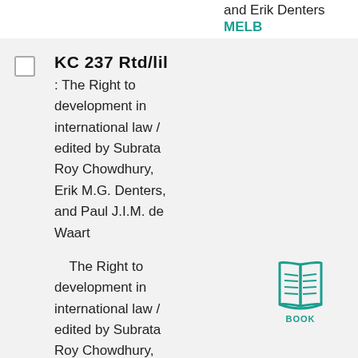and Erik Denters
MELB
KC 237 Rtd/lil
: The Right to development in international law / edited by Subrata Roy Chowdhury, Erik M.G. Denters, and Paul J.I.M. de Waart
The Right to development in international law / edited by Subrata Roy Chowdhury, Erik M.G. Denters, and Paul J.I.M. de
[Figure (illustration): Book icon in teal/green color with 'BOOK' label underneath]
1992